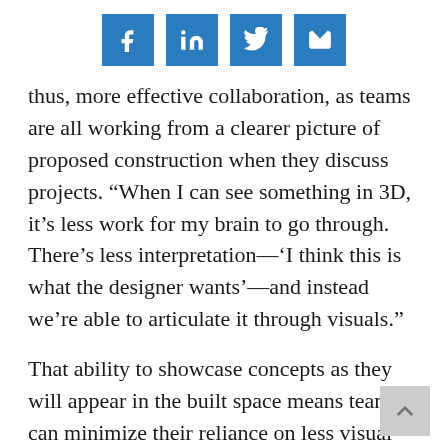Social sharing icons: Facebook, LinkedIn, Twitter, Email
thus, more effective collaboration, as teams are all working from a clearer picture of proposed construction when they discuss projects. “When I can see something in 3D, it’s less work for my brain to go through. There’s less interpretation—‘I think this is what the designer wants’—and instead we’re able to articulate it through visuals.”
That ability to showcase concepts as they will appear in the built space means teams can minimize their reliance on less visual communication tools like Excel or email to